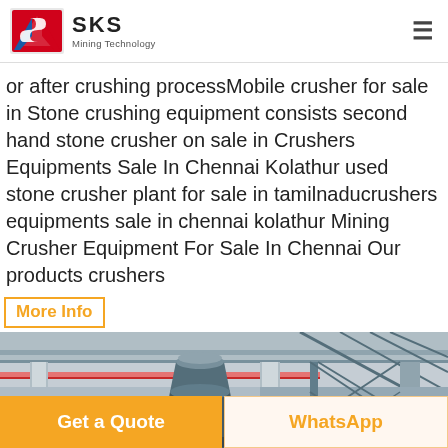[Figure (logo): SKS Mining Technology logo with red and blue geometric mark]
or after crushing processMobile crusher for sale in Stone crushing equipment consists second hand stone crusher on sale in Crushers Equipments Sale In Chennai Kolathur used stone crusher plant for sale in tamilnaducrushers equipments sale in chennai kolathur Mining Crusher Equipment For Sale In Chennai Our products crushers
More Info
[Figure (photo): Industrial mining/crushing facility interior showing a large cone crusher machine under a steel structure with concrete columns and overhead pipes]
Get a Quote
WhatsApp